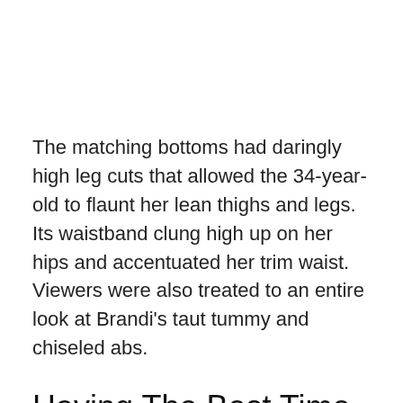The matching bottoms had daringly high leg cuts that allowed the 34-year-old to flaunt her lean thighs and legs. Its waistband clung high up on her hips and accentuated her trim waist. Viewers were also treated to an entire look at Brandi's taut tummy and chiseled abs.
Having The Best Time